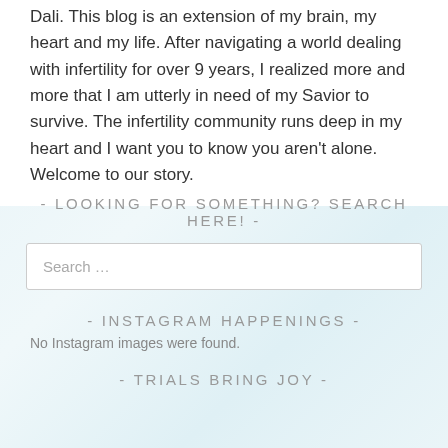Dali. This blog is an extension of my brain, my heart and my life. After navigating a world dealing with infertility for over 9 years, I realized more and more that I am utterly in need of my Savior to survive. The infertility community runs deep in my heart and I want you to know you aren't alone. Welcome to our story.
- LOOKING FOR SOMETHING? SEARCH HERE! -
Search …
- INSTAGRAM HAPPENINGS -
No Instagram images were found.
- TRIALS BRING JOY -